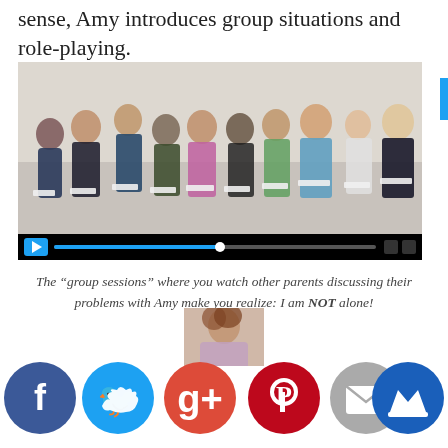sense, Amy introduces group situations and role-playing.
[Figure (photo): Group session video still showing about 12 people (parents and a facilitator/Amy) seated in a circle on white chairs in a bright white room, with a video player control bar at the bottom showing a play button and progress bar.]
The “group sessions” where you watch other parents discussing their problems with Amy make you realize: I am NOT alone!
[Figure (photo): Partial view of a person (child or adult) at the bottom of the page, partially obscured by social sharing icons.]
Facebook share button
Twitter share button
Google+ share button
Pinterest share button
Email share button
Crown/bookmark share button